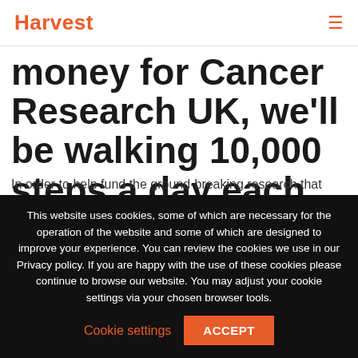Harvest
money for Cancer Research UK, we'll be walking 10,000 steps a day each day in June.
In order to help fund the ground-breaking research that
This website uses cookies, some of which are necessary for the operation of the website and some of which are designed to improve your experience. You can review the cookies we use in our Privacy policy. If you are happy with the use of these cookies please continue to browse our website. You may adjust your cookie settings via your chosen browser tools.
Cookie settings
ACCEPT